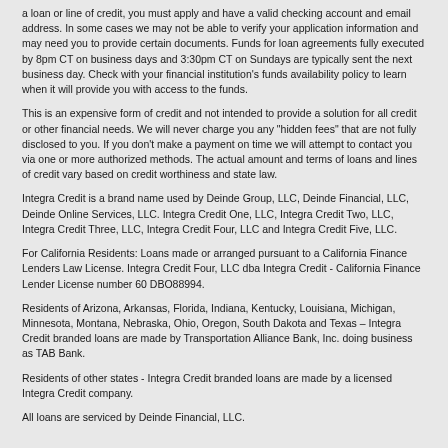a loan or line of credit, you must apply and have a valid checking account and email address. In some cases we may not be able to verify your application information and may need you to provide certain documents. Funds for loan agreements fully executed by 8pm CT on business days and 3:30pm CT on Sundays are typically sent the next business day. Check with your financial institution's funds availability policy to learn when it will provide you with access to the funds.
This is an expensive form of credit and not intended to provide a solution for all credit or other financial needs. We will never charge you any "hidden fees" that are not fully disclosed to you. If you don't make a payment on time we will attempt to contact you via one or more authorized methods. The actual amount and terms of loans and lines of credit vary based on credit worthiness and state law.
Integra Credit is a brand name used by Deinde Group, LLC, Deinde Financial, LLC, Deinde Online Services, LLC. Integra Credit One, LLC, Integra Credit Two, LLC, Integra Credit Three, LLC, Integra Credit Four, LLC and Integra Credit Five, LLC.
For California Residents: Loans made or arranged pursuant to a California Finance Lenders Law License. Integra Credit Four, LLC dba Integra Credit - California Finance Lender License number 60 DBO88994.
Residents of Arizona, Arkansas, Florida, Indiana, Kentucky, Louisiana, Michigan, Minnesota, Montana, Nebraska, Ohio, Oregon, South Dakota and Texas – Integra Credit branded loans are made by Transportation Alliance Bank, Inc. doing business as TAB Bank.
Residents of other states - Integra Credit branded loans are made by a licensed Integra Credit company.
All loans are serviced by Deinde Financial, LLC.